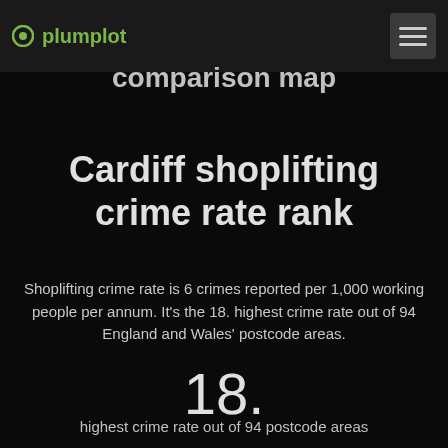plumplot
comparison map
Cardiff shoplifting crime rate rank
Shoplifting crime rate is 6 crimes reported per 1,000 working people per annum. It's the 18. highest crime rate out of 94 England and Wales' postcode areas.
18.
highest crime rate out of 94 postcode areas
6